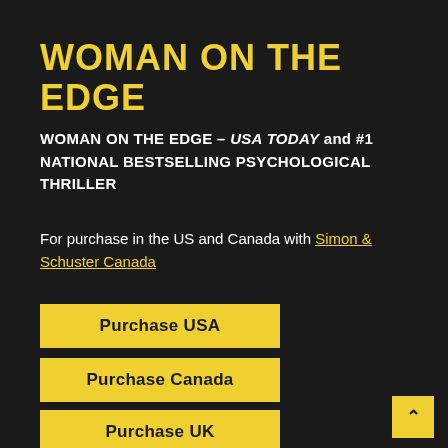WOMAN ON THE EDGE
WOMAN ON THE EDGE – USA TODAY and #1 NATIONAL BESTSELLING PSYCHOLOGICAL THRILLER
For purchase in the US and Canada with Simon & Schuster Canada
Purchase USA
Purchase Canada
Purchase UK